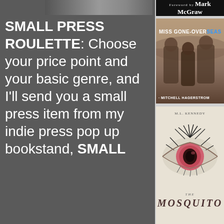[Figure (photo): Small strip of book covers at top of left column]
SMALL PRESS ROULETTE: Choose your price point and your basic genre, and I'll send you a small press item from my indie press pop up bookstand, SMALL
[Figure (photo): Book cover: dark bar with 'Foreword by Mark McGraw' text]
[Figure (photo): Book cover: Miss Gone-Overseas by Mitchell Hagerstrom, sepia photograph of three people]
[Figure (photo): Book cover: The Mosquito by M.L. Kennedy, featuring a close-up illustration of an eye with lashes]